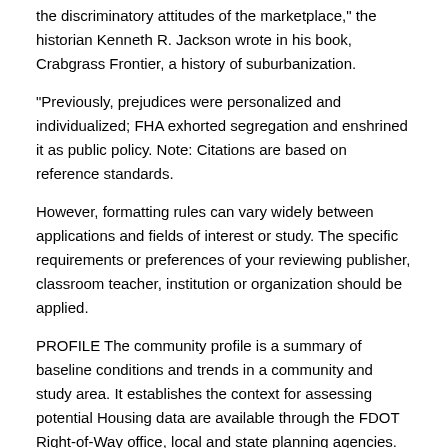the discriminatory attitudes of the marketplace," the historian Kenneth R. Jackson wrote in his book, Crabgrass Frontier, a history of suburbanization.
"Previously, prejudices were personalized and individualized; FHA exhorted segregation and enshrined it as public policy. Note: Citations are based on reference standards.
However, formatting rules can vary widely between applications and fields of interest or study. The specific requirements or preferences of your reviewing publisher, classroom teacher, institution or organization should be applied.
PROFILE The community profile is a summary of baseline conditions and trends in a community and study area. It establishes the context for assessing potential Housing data are available through the FDOT Right-of-Way office, local and state planning agencies.
U.S. Department of Housing and Urban Development | 7th Street S.W., Washington, DC Telephone: () TTY: () Find the address of the HUD office near you. Book of Lists; Wine Business High-profile